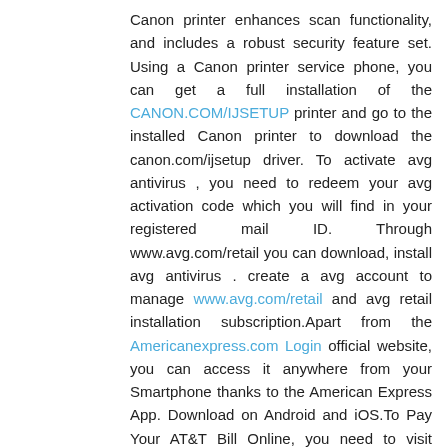Canon printer enhances scan functionality, and includes a robust security feature set. Using a Canon printer service phone, you can get a full installation of the CANON.COM/IJSETUP printer and go to the installed Canon printer to download the canon.com/ijsetup driver. To activate avg antivirus , you need to redeem your avg activation code which you will find in your registered mail ID. Through www.avg.com/retail you can download, install avg antivirus . create a avg account to manage www.avg.com/retail and avg retail installation subscription.Apart from the Americanexpress.com Login official website, you can access it anywhere from your Smartphone thanks to the American Express App. Download on Android and iOS.To Pay Your AT&T Bill Online, you need to visit att.com/pay or www.att.com/pay and sign in to att. This is the easiest way to pay all the att bills.
Reply
Chanchal  July 27, 2021 at 9:04 AM